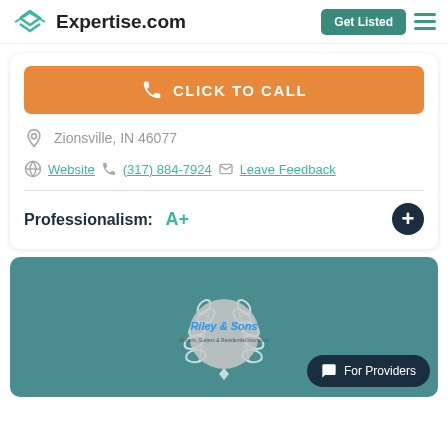Expertise.com | Get Listed
CLICK TO CALL
Zionsville, IN 46077
Website | (317) 884-7924 | Leave Feedback
Professionalism: A+
[Figure (logo): Riley & Sons logo on teal award card background with laurel wreath]